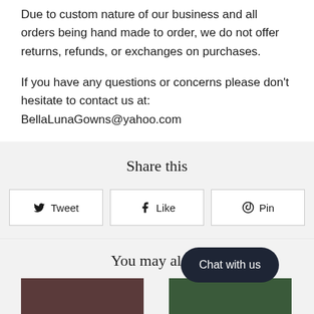Due to custom nature of our business and all orders being hand made to order, we do not offer returns, refunds, or exchanges on purchases.
If you have any questions or concerns please don't hesitate to contact us at: BellaLunaGowns@yahoo.com
Share this
Tweet  Like  Pin
You may also l…
Chat with us